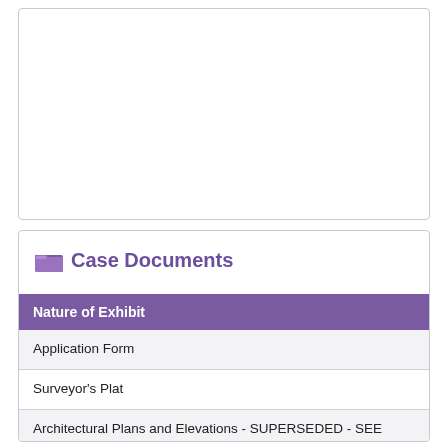Case Documents
| Nature of Exhibit |
| --- |
| Application Form |
| Surveyor's Plat |
| Architectural Plans and Elevations - SUPERSEDED - SEE EXHIBIT #15A1-15A3 |
| List of Names and Mailing Addresses of Property Owners within 200 Ft |
| Statement of the Applicant |
| Letter of Authorization |
| Certificate of Proficiency |